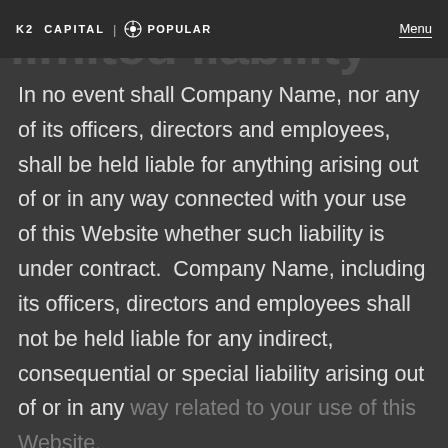K2 CAPITAL | POPULAR  Menu
limited liability
In no event shall Company Name, nor any of its officers, directors and employees, shall be held liable for anything arising out of or in any way connected with your use of this Website whether such liability is under contract.  Company Name, including its officers, directors and employees shall not be held liable for any indirect, consequential or special liability arising out of or in any way related to your use of this Website.